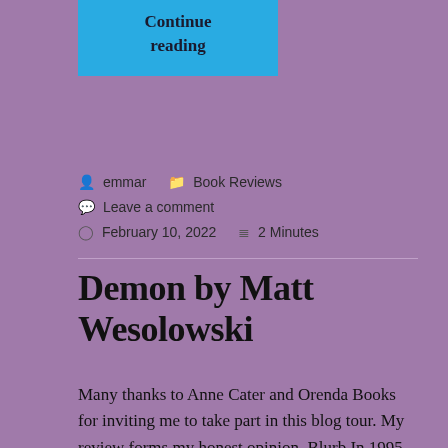[Figure (other): Cyan/blue 'Continue reading' button at top of page]
emmar   Book Reviews   Leave a comment
February 10, 2022   2 Minutes
Demon by Matt Wesolowski
Many thanks to Anne Cater and Orenda Books for inviting me to take part in this blog tour. My review forms my honest opinion. Blurb In 1995, the picture-perfect village of